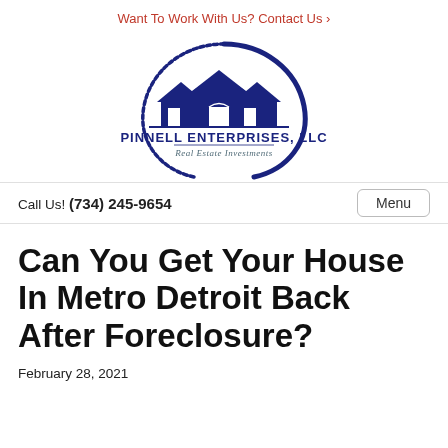Want To Work With Us? Contact Us ›
[Figure (logo): Pinnell Enterprises, LLC Real Estate Investments logo — dark navy blue houses silhouette with a circular swoosh arc, company name and tagline below]
Call Us! (734) 245-9654   Menu
Can You Get Your House In Metro Detroit Back After Foreclosure?
February 28, 2021